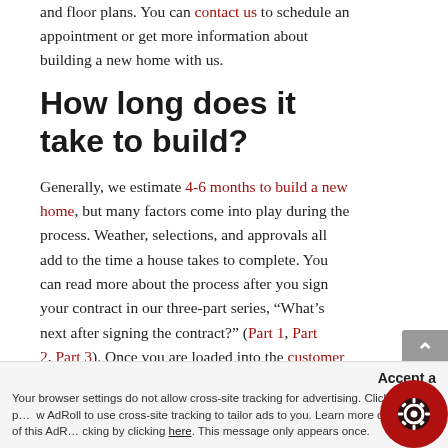and floor plans. You can contact us to schedule an appointment or get more information about building a new home with us.
How long does it take to build?
Generally, we estimate 4-6 months to build a new home, but many factors come into play during the process. Weather, selections, and approvals all add to the time a house takes to complete. You can read more about the process after you sign your contract in our three-part series, “What’s next after signing the contract?” (Part 1, Part 2, Part 3). Once you are loaded into the customer portal, you will get real-time access to your building schedule, selections, expenses and a question and answer forum to help eliminate any time that could be lost waiting for an answer.
Your browser settings do not allow cross-site tracking for advertising. Click on this page to allow AdRoll to use cross-site tracking to tailor ads to you. Learn more or opt out of this AdRoll tracking by clicking here. This message only appears once.